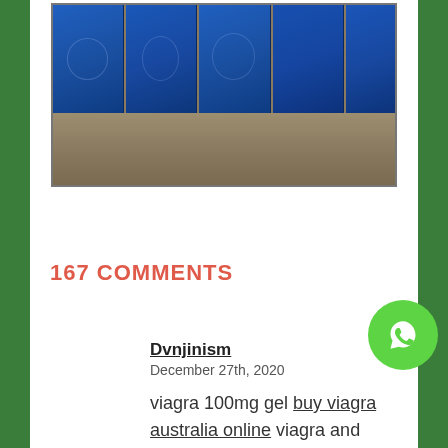[Figure (photo): Row of blue portable toilets (porta-potties) lined up on a dirt/gravel ground, photographed from the side.]
167 COMMENTS
Dvnjinism
December 27th, 2020
viagra 100mg gel buy viagra australia online viagra and dapoxetine160 mg